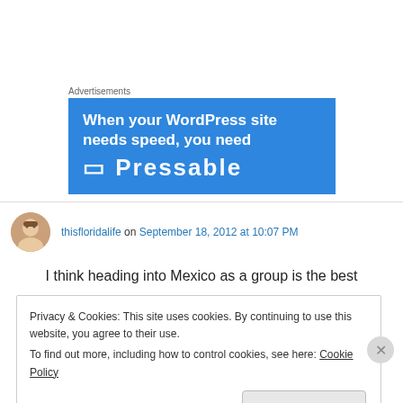Advertisements
[Figure (screenshot): Blue advertisement banner: 'When your WordPress site needs speed, you need [Pressable]']
thisfloridalife on September 18, 2012 at 10:07 PM
I think heading into Mexico as a group is the best
Privacy & Cookies: This site uses cookies. By continuing to use this website, you agree to their use. To find out more, including how to control cookies, see here: Cookie Policy
Close and accept